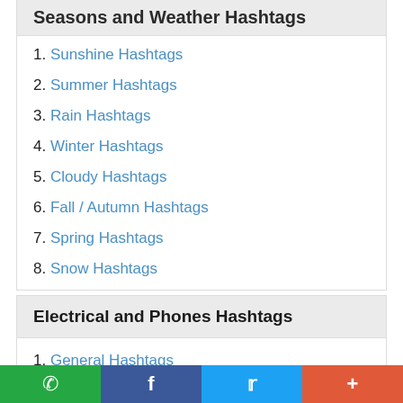Seasons and Weather Hashtags
1. Sunshine Hashtags
2. Summer Hashtags
3. Rain Hashtags
4. Winter Hashtags
5. Cloudy Hashtags
6. Fall / Autumn Hashtags
7. Spring Hashtags
8. Snow Hashtags
Electrical and Phones Hashtags
1. General Hashtags